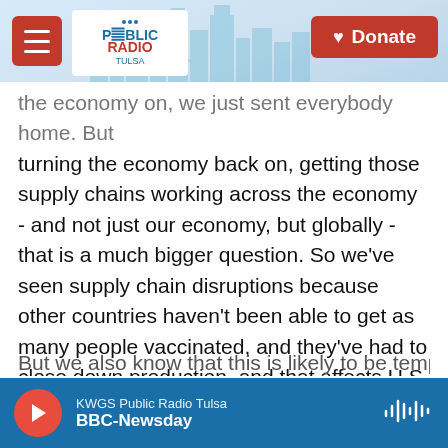Public Radio Tulsa | Donate
the economy on, we just sent everybody home. But turning the economy back on, getting those supply chains working across the economy - and not just our economy, but globally - that is a much bigger question. So we've seen supply chain disruptions because other countries haven't been able to get as many people vaccinated, and they've had to close down production, and that affects U.S. firms, and that affects the delivery to stores and all the things. So I think we need to have a little bit of patience in recovering from this massive global pandemic, and you can see that in the inflation numbers.
But we also know that this is likely to be temporary...
KWGS Public Radio Tulsa | BBC-Newsday